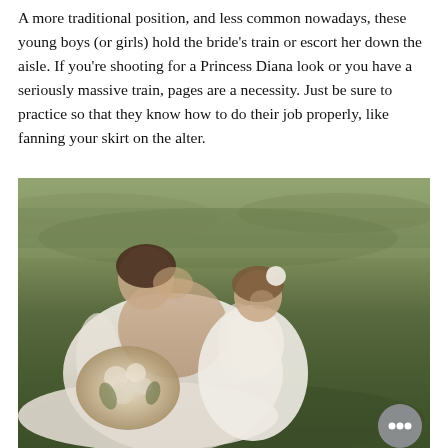A more traditional position, and less common nowadays, these young boys (or girls) hold the bride's train or escort her down the aisle. If you're shooting for a Princess Diana look or you have a seriously massive train, pages are a necessity. Just be sure to practice so that they know how to do their job properly, like fanning your skirt on the alter.
[Figure (photo): A bride in a white off-shoulder lace gown kneeling on grass, kissing a young flower girl dressed in white with a floral hair accessory. The bride holds a large bouquet of flowers. Outdoor setting with greenery in the background. A chat button overlay appears in the bottom right corner.]